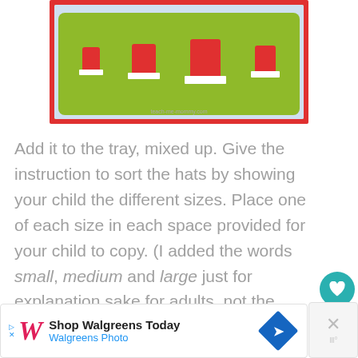[Figure (photo): Photo of red and white Santa hat-shaped watermelon pieces arranged on a green tray against a light blue background. Watermark reads 'teach-me-mommy.com']
Add it to the tray, mixed up. Give the instruction to sort the hats by showing your child the different sizes. Place one of each size in each space provided for your child to copy. (I added the words small, medium and large just for explanation sake for adults, not the kids, but it is good to say the words so that your child can expand their vocab.)
[Figure (infographic): Advertisement banner: Shop Walgreens Today - Walgreens Photo, with Walgreens logo and blue navigation diamond icon]